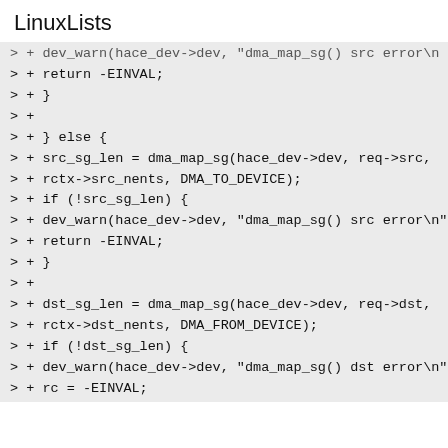LinuxLists
> + dev_warn(hace_dev->dev, "dma_map_sg() src error\n");
> + return -EINVAL;
> + }
> +
> + } else {
> + src_sg_len = dma_map_sg(hace_dev->dev, req->src,
> + rctx->src_nents, DMA_TO_DEVICE);
> + if (!src_sg_len) {
> + dev_warn(hace_dev->dev, "dma_map_sg() src error\n");
> + return -EINVAL;
> + }
> +
> + dst_sg_len = dma_map_sg(hace_dev->dev, req->dst,
> + rctx->dst_nents, DMA_FROM_DEVICE);
> + if (!dst_sg_len) {
> + dev_warn(hace_dev->dev, "dma_map_sg() dst error\n");
> + rc = -EINVAL;